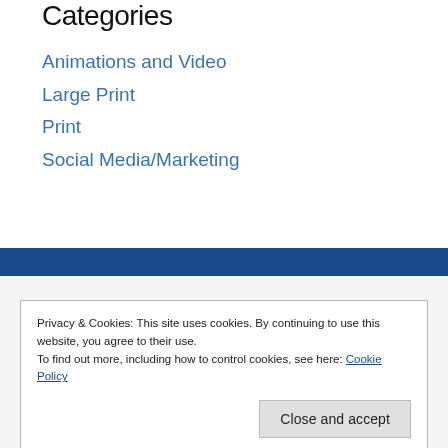Categories
Animations and Video
Large Print
Print
Social Media/Marketing
Privacy & Cookies: This site uses cookies. By continuing to use this website, you agree to their use.
To find out more, including how to control cookies, see here: Cookie Policy
Close and accept